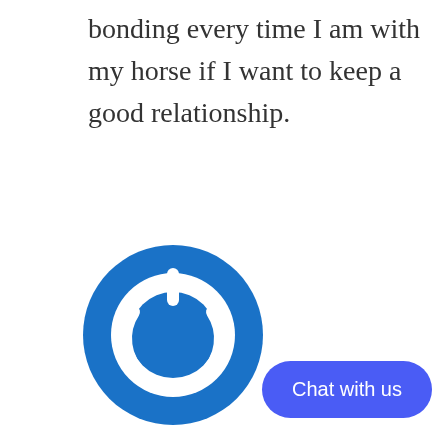bonding every time I am with my horse if I want to keep a good relationship.
[Figure (logo): Blue circular power/on button icon logo with white power symbol in center]
TRACEYLYNN HOMMEL
April 24, 2018
Simple…always be reassuring that all is good, and show it